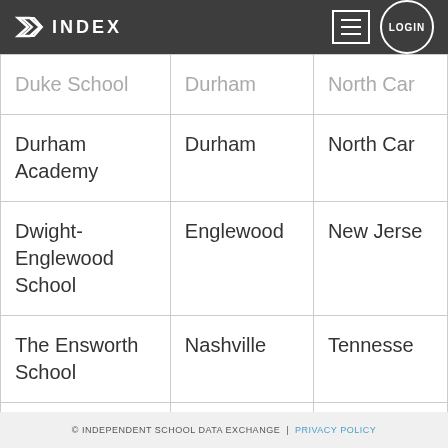INDEX LOGIN
| School | City | State |
| --- | --- | --- |
| Duke School | Durham | North Car... |
| Durham Academy | Durham | North Car... |
| Dwight-Englewood School | Englewood | New Jerse... |
| The Ensworth School | Nashville | Tennesse... |
| The Episcopal... | Newtown Square... | Pennsylva... |
© INDEPENDENT SCHOOL DATA EXCHANGE | PRIVACY POLICY